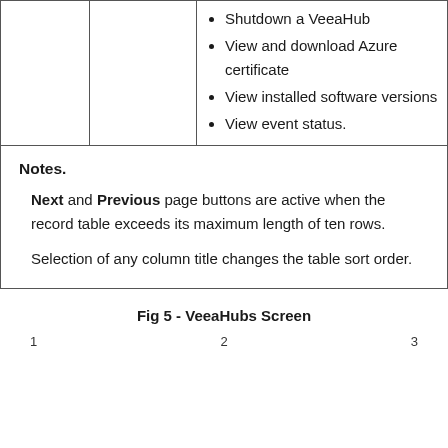Shutdown a VeeaHub
View and download Azure certificate
View installed software versions
View event status.
Notes.
Next and Previous page buttons are active when the record table exceeds its maximum length of ten rows.
Selection of any column title changes the table sort order.
Fig 5 - VeeaHubs Screen
1   2   3